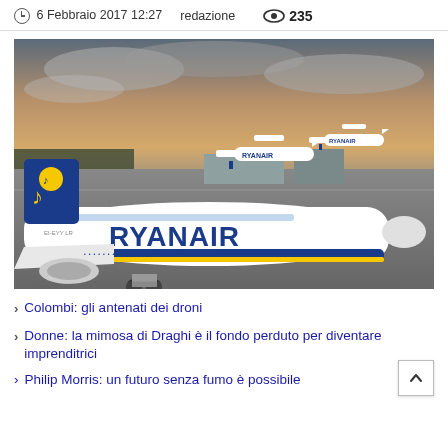6 Febbraio 2017 12:27   redazione   👁 235
[Figure (photo): Multiple Ryanair aircraft parked at an airport terminal, with overcast sky at sunset. The foreground shows a large Boeing 737 with 'RYANAIR' lettering. Several other Ryanair planes visible in the background.]
Colombi: gli antenati dei droni
Donne: la mimosa di Draghi è il fondo perduto per diventare imprenditrici
Philip Morris: un futuro senza fumo è possibile